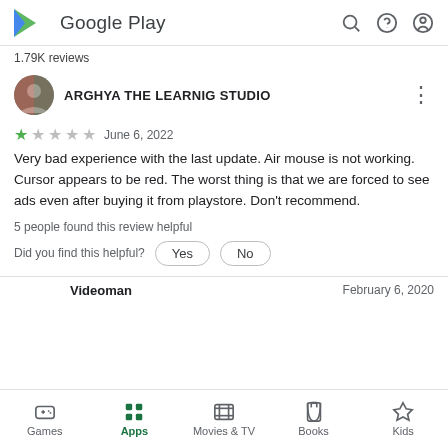Google Play
1.79K reviews
ARGHYA THE LEARNIG STUDIO
★ June 6, 2022
Very bad experience with the last update. Air mouse is not working. Cursor appears to be red. The worst thing is that we are forced to see ads even after buying it from playstore. Don't recommend.
5 people found this review helpful
Did you find this helpful?
Videoman   February 6, 2020
Games  Apps  Movies & TV  Books  Kids